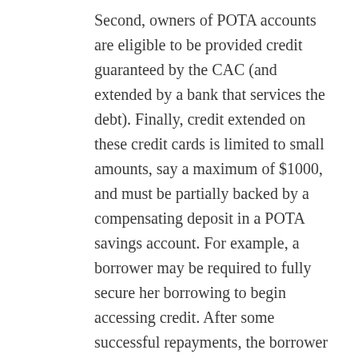Second, owners of POTA accounts are eligible to be provided credit guaranteed by the CAC (and extended by a bank that services the debt). Finally, credit extended on these credit cards is limited to small amounts, say a maximum of $1000, and must be partially backed by a compensating deposit in a POTA savings account. For example, a borrower may be required to fully secure her borrowing to begin accessing credit. After some successful repayments, the borrower could ascend a ladder of credit, where she would only have to secure her credit by up to 75 percent, and so on. In other words, to get access to credit, an individual must save up amounts in a savings account. As she demonstrates success, she will have access to unsecured credit, which will be guaranteed by the